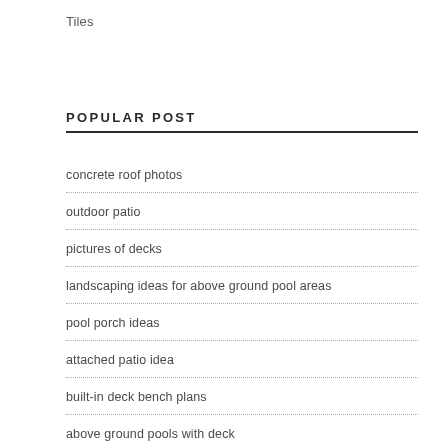Tiles
POPULAR POST
concrete roof photos
outdoor patio
pictures of decks
landscaping ideas for above ground pool areas
pool porch ideas
attached patio idea
built-in deck bench plans
above ground pools with deck
excalibur collectiom patio pictures
deck privacy ideas